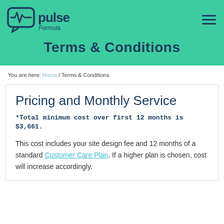Pulse Formula – Terms & Conditions header with logo and navigation
Terms & Conditions
You are here: Home / Terms & Conditions
Pricing and Monthly Service
*Total minimum cost over first 12 months is $3,661.
This cost includes your site design fee and 12 months of a standard Customer Care Plan. If a higher plan is chosen, cost will increase accordingly.